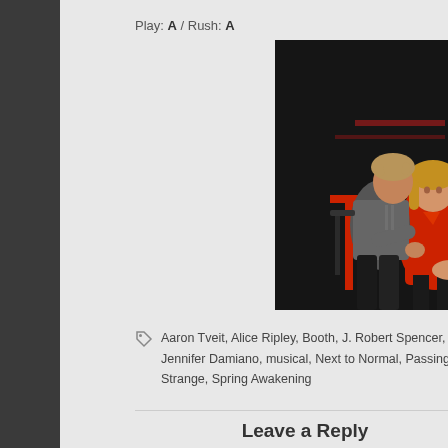Play: A / Rush: A
[Figure (photo): Two actors on stage: a young man in a gray t-shirt leaning over toward a woman in a red dress seated at what appears to be a table or bar stool. The background is dark with red theatrical lighting.]
Aaron Tveit, Alice Ripley, Booth, J. Robert Spencer, Jennifer Damiano, musical, Next to Normal, Passing Strange, Spring Awakening
Leave a Reply